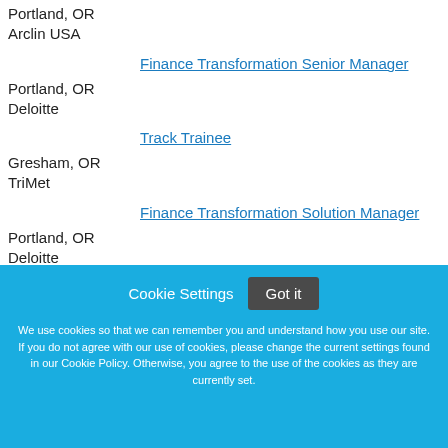Portland, OR
Arclin USA
Finance Transformation Senior Manager
Portland, OR
Deloitte
Track Trainee
Gresham, OR
TriMet
Finance Transformation Solution Manager
Portland, OR
Deloitte
Cookie Settings  Got it
We use cookies so that we can remember you and understand how you use our site. If you do not agree with our use of cookies, please change the current settings found in our Cookie Policy. Otherwise, you agree to the use of the cookies as they are currently set.